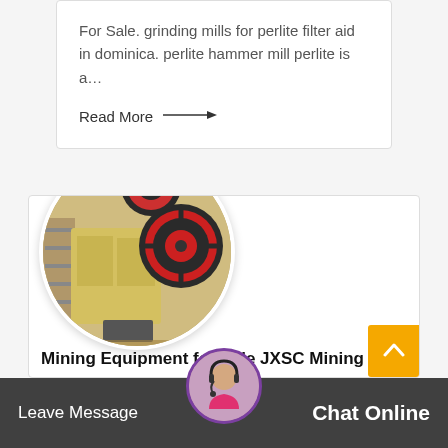For Sale. grinding mills for perlite filter aid in dominica. perlite hammer mill perlite is a…
Read More →
[Figure (photo): Circular-cropped photo of large yellow industrial jaw crusher/mining equipment with red and black flywheel, in a warehouse setting.]
Mining Equipment for Sale JXSC Mining
Leave Message    hine   ory (  Chat Online  Mining) provides a variety of mining